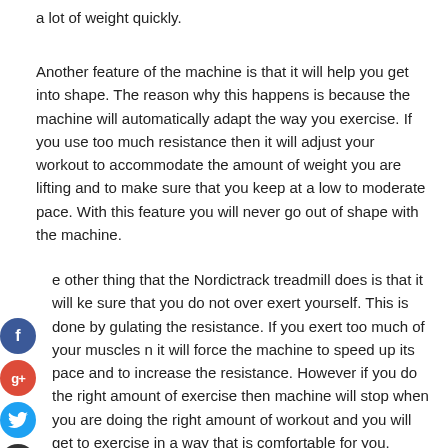a lot of weight quickly.
Another feature of the machine is that it will help you get into shape. The reason why this happens is because the machine will automatically adapt the way you exercise. If you use too much resistance then it will adjust your workout to accommodate the amount of weight you are lifting and to make sure that you keep at a low to moderate pace. With this feature you will never go out of shape with the machine.
e other thing that the Nordictrack treadmill does is that it will ke sure that you do not over exert yourself. This is done by gulating the resistance. If you exert too much of your muscles n it will force the machine to speed up its pace and to increase the resistance. However if you do the right amount of exercise then machine will stop when you are doing the right amount of workout and you will get to exercise in a way that is comfortable for you.